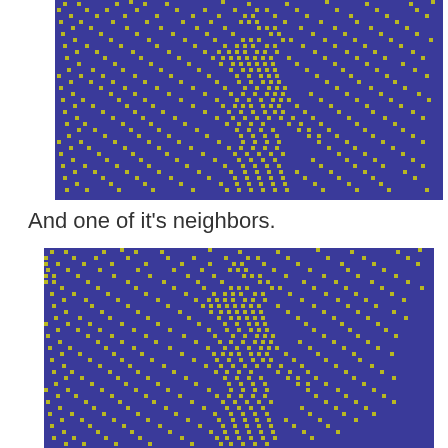[Figure (other): Cellular automaton grid with blue background and yellow/olive square cells scattered in a complex pattern]
And one of it's neighbors.
[Figure (other): Cellular automaton neighbor grid with blue background and yellow/olive square cells scattered in a similar complex pattern]